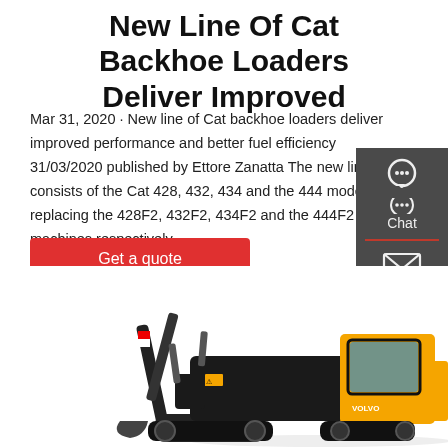New Line Of Cat Backhoe Loaders Deliver Improved
Mar 31, 2020 · New line of Cat backhoe loaders deliver improved performance and better fuel efficiency 31/03/2020 published by Ettore Zanatta The new line consists of the Cat 428, 432, 434 and the 444 models, replacing the 428F2, 432F2, 434F2 and the 444F2 machines respectively.
Get a quote
[Figure (infographic): Dark sidebar with chat, email, and contact icons]
[Figure (photo): A yellow and black Volvo compact excavator on white background]